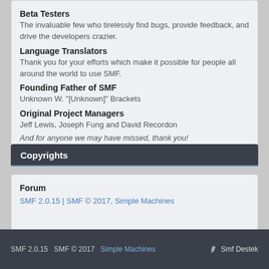Beta Testers
The invaluable few who tirelessly find bugs, provide feedback, and drive the developers crazier.
Language Translators
Thank you for your efforts which make it possible for people all around the world to use SMF.
Founding Father of SMF
Unknown W. "[Unknown]" Brackets
Original Project Managers
Jeff Lewis, Joseph Fung and David Recordon
And for anyone we may have missed, thank you!
Copyrights
Forum
SMF 2.0.15 | SMF © 2017, Simple Machines
SMF 2.0.15   SMF © 2017   Simple Machines   Smf Destek